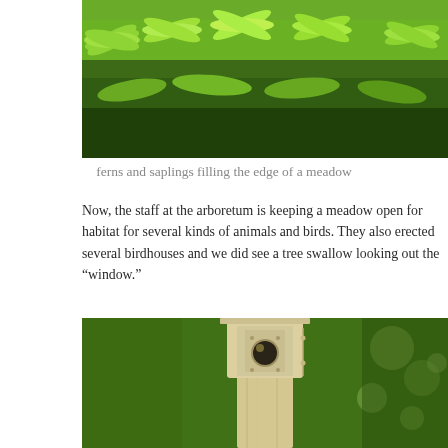[Figure (photo): Dense green ferns and saplings filling the edge of a meadow, lush foliage]
ferns and saplings filling the edge of a meadow
Now, the staff at the arboretum is keeping a meadow open for habitat for several kinds of animals and birds. They also erected several birdhouses and we did see a tree swallow looking out the “window.”
[Figure (photo): A wooden birdhouse on a post with a circular hole, blurred green background]